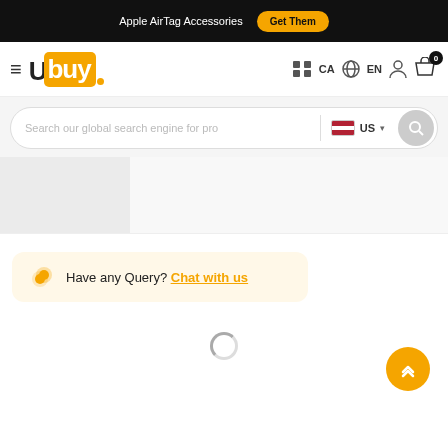Apple AirTag Accessories  Get Them
[Figure (logo): Ubuy logo with hamburger menu and navigation icons for CA, EN, account, and cart with badge 0]
[Figure (screenshot): Search bar with placeholder 'Search our global search engine for pro', US flag country selector, and search button]
[Figure (photo): Grey placeholder content blocks]
Have any Query? Chat with us
[Figure (other): Scroll to top button with upward chevrons]
[Figure (other): Loading spinner]